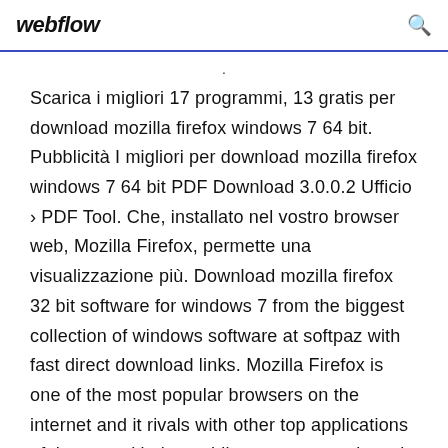webflow
Scarica i migliori 17 programmi, 13 gratis per download mozilla firefox windows 7 64 bit. Pubblicità I migliori per download mozilla firefox windows 7 64 bit PDF Download 3.0.0.2 Ufficio › PDF Tool. Che, installato nel vostro browser web, Mozilla Firefox, permette una visualizzazione più. Download mozilla firefox 32 bit software for windows 7 from the biggest collection of windows software at softpaz with fast direct download links. Mozilla Firefox is one of the most popular browsers on the internet and it rivals with other top applications of the same kind, providing constant updates in order to maintain a good profile. Lately, the tool has